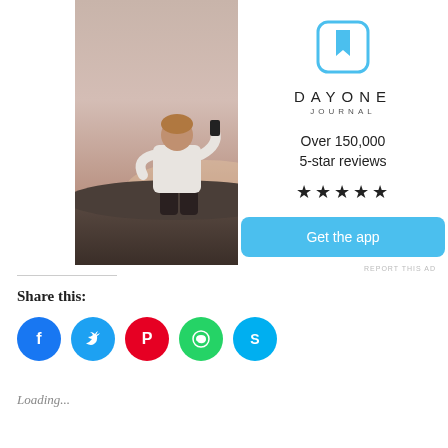[Figure (photo): Person sitting on rocks photographing a sunset, viewed from behind, wearing white t-shirt, holding a phone/camera]
[Figure (infographic): Day One Journal app advertisement with logo icon, 'DAYONE JOURNAL' text, 'Over 150,000 5-star reviews', star rating, and 'Get the app' button]
Share this:
[Figure (infographic): Social sharing icons: Facebook (blue), Twitter (light blue), Pinterest (red), WhatsApp (green), Skype (blue)]
Loading...